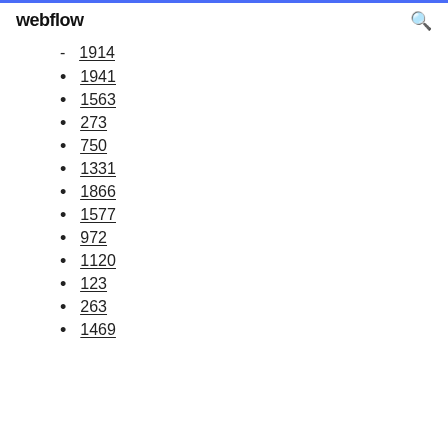webflow
1914
1941
1563
273
750
1331
1866
1577
972
1120
123
263
1469